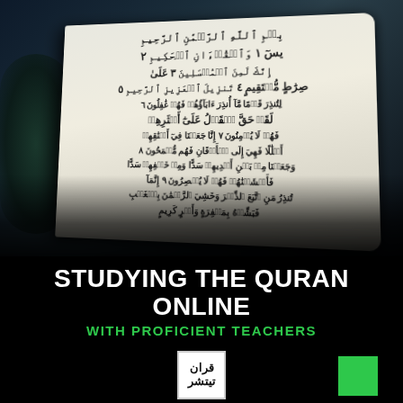[Figure (photo): Hands holding an open Quran with Arabic text visible on the page, photographed in dim lighting with dark background]
STUDYING THE QURAN ONLINE
WITH PROFICIENT TEACHERS
[Figure (logo): Quran Teacher logo — Arabic calligraphy in a square border, with 'QURAN TEACHER' text below]